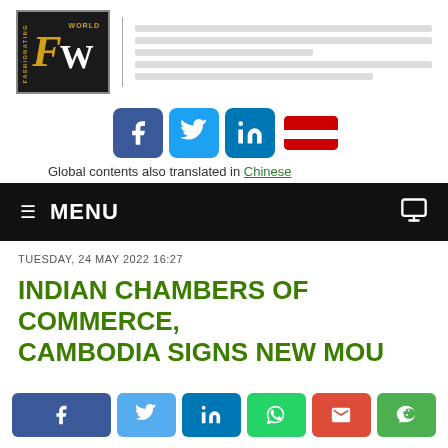[Figure (logo): Fashionating World logo — black square with gold and white FW letters, gold 'WORLD' text]
[Figure (infographic): Social media icons: Facebook (blue), Twitter (light blue), LinkedIn (blue), red flag icon]
Global contents also translated in Chinese
MENU
TUESDAY, 24 MAY 2022 16:27
INDIAN CHAMBERS OF COMMERCE, CAMBODIA SIGNS NEW MOU
[Figure (infographic): Social share buttons: Facebook, Twitter, LinkedIn, WhatsApp, Gmail, WeChat]